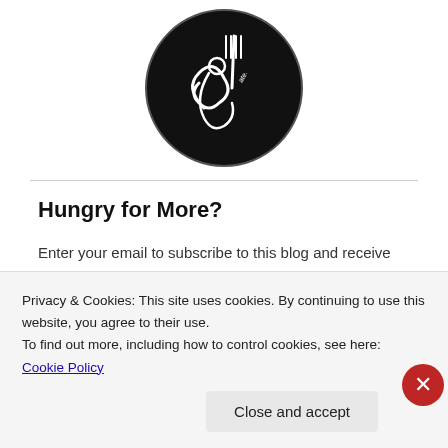[Figure (logo): Circular black logo with illustrated fork and figure, resembling a food blog branding icon]
Hungry for More?
Enter your email to subscribe to this blog and receive notifications of new posts by email. It's FREE!
Privacy & Cookies: This site uses cookies. By continuing to use this website, you agree to their use.
To find out more, including how to control cookies, see here: Cookie Policy
Close and accept